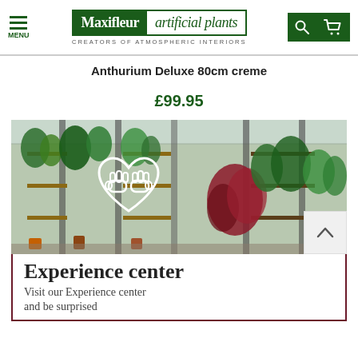Maxifleur artificial plants — CREATORS OF ATMOSPHERIC INTERIORS
Anthurium Deluxe 80cm creme
£99.95
[Figure (photo): Greenhouse/showroom interior filled with various artificial plants on shelves and display stands, with a handshake heart icon overlay in white]
Experience center
Visit our Experience center and be surprised